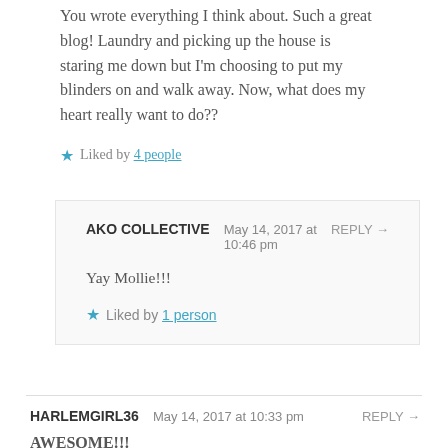You wrote everything I think about. Such a great blog! Laundry and picking up the house is staring me down but I'm choosing to put my blinders on and walk away. Now, what does my heart really want to do??
★ Liked by 4 people
AKO COLLECTIVE   May 14, 2017 at 10:46 pm   REPLY →
Yay Mollie!!!
★ Liked by 1 person
HARLEMGIRL36   May 14, 2017 at 10:33 pm   REPLY →
AWESOME!!!